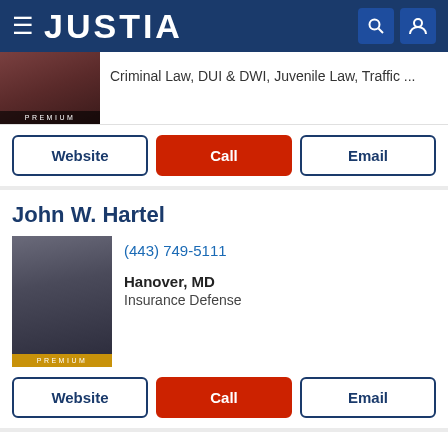JUSTIA
Criminal Law, DUI & DWI, Juvenile Law, Traffic ...
Website | Call | Email
John W. Hartel
(443) 749-5111
Hanover, MD
Insurance Defense
Website | Call | Email
Faraji A. Rosenthall
(703) 934-0101